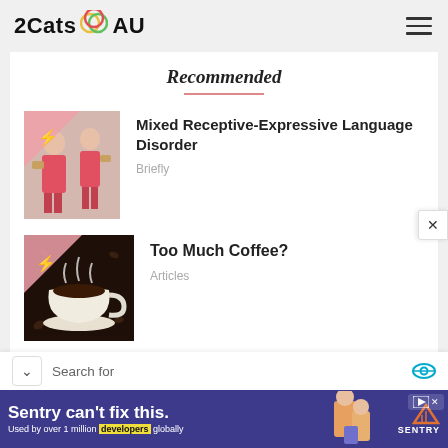2Cats AU
Recommended
[Figure (photo): Thumbnail image of two children communicating]
Mixed Receptive-Expressive Language Disorder
Briefly
[Figure (photo): Thumbnail image of a coffee cup with steam]
Too Much Coffee?
Articles
Search for
[Figure (screenshot): Sentry advertisement banner: Sentry can't fix this. Used by over 1 million developers globally.]